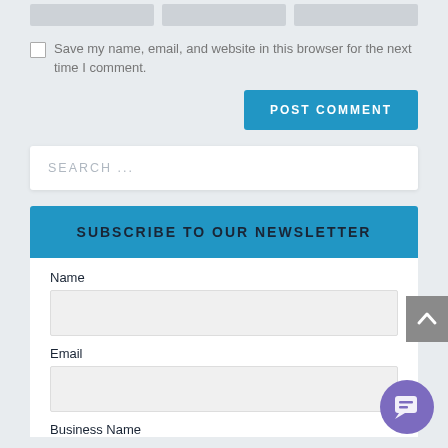[Figure (screenshot): Three gray input field boxes at top of page (cropped)]
Save my name, email, and website in this browser for the next time I comment.
POST COMMENT
SEARCH ...
SUBSCRIBE TO OUR NEWSLETTER
Name
Email
Business Name